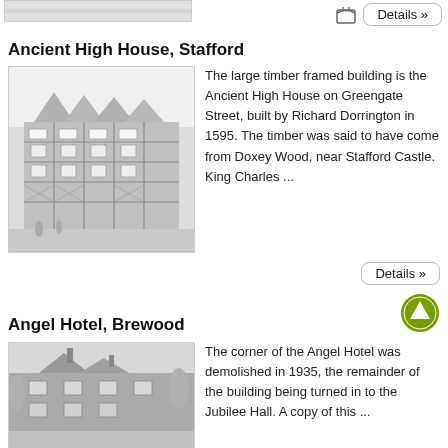[Figure (photo): Partial image at top left (cropped building photo)]
Details »
Ancient High House, Stafford
[Figure (illustration): Black and white engraving/illustration of Ancient High House, a large timber framed building on Greengate Street, Stafford]
The large timber framed building is the Ancient High House on Greengate Street, built by Richard Dorrington in 1595. The timber was said to have come from Doxey Wood, near Stafford Castle. King Charles ...
Details »
Angel Hotel, Brewood
[Figure (photo): Black and white photograph of the Angel Hotel, Brewood (partially cropped at bottom)]
The corner of the Angel Hotel was demolished in 1935, the remainder of the building being turned in to the Jubilee Hall. A copy of this ...